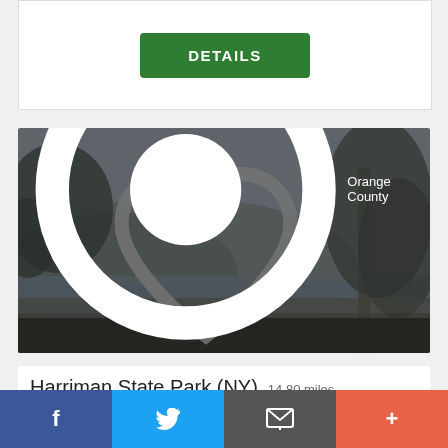DETAILS
[Figure (photo): Landscape photo of Harriman State Park showing a lake, wooded hills, and a tree in the foreground with a heart/favorite icon overlay and Orange County location label]
Harriman State Park (NY) 14.80 miles
f
Twitter bird icon
Message/email icon
+